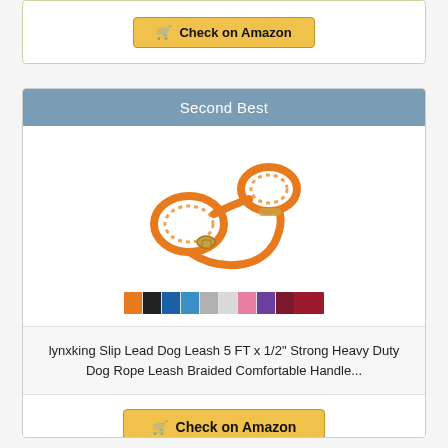[Figure (other): Partial product card showing a Check on Amazon button at the top of the page]
Second Best
[Figure (photo): Orange braided slip lead dog leash coiled and looped, with a color swatch strip showing multiple color options below]
lynxking Slip Lead Dog Leash 5 FT x 1/2" Strong Heavy Duty Dog Rope Leash Braided Comfortable Handle...
[Figure (other): Check on Amazon button]